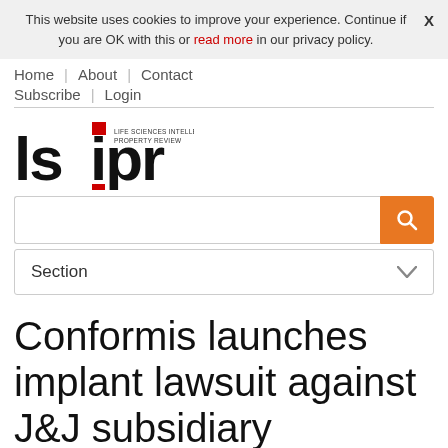This website uses cookies to improve your experience. Continue if you are OK with this or read more in our privacy policy.
Home | About | Contact
Subscribe | Login
[Figure (logo): LSIPR logo — stylized letters lsipr in black and red]
Search input field with orange search button
Section dropdown
Conformis launches implant lawsuit against J&J subsidiary